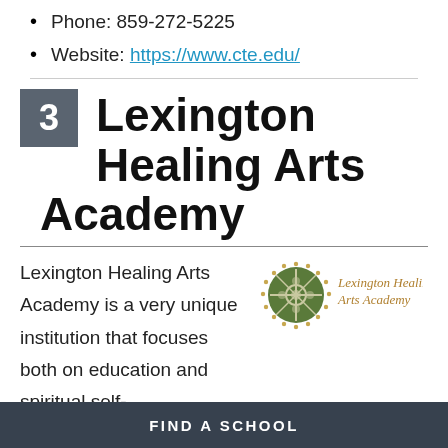Phone: 859-272-5225
Website: https://www.cte.edu/
3  Lexington Healing Arts Academy
Lexington Healing Arts Academy is a very unique institution that focuses both on education and spiritual self-development.
[Figure (logo): Lexington Healing Arts Academy logo: circular green emblem with cross motif and golden text]
FIND A SCHOOL